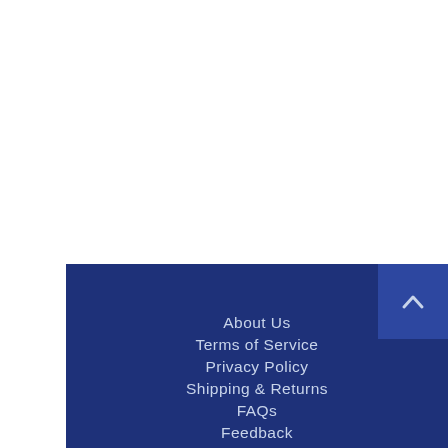About Us
Terms of Service
Privacy Policy
Shipping & Returns
FAQs
Feedback
Contact